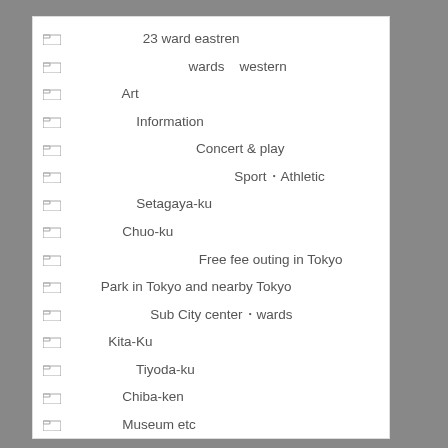東京23区東部 23 ward eastren
東京23区 西部  wards   western
美術館  Art
イベント  Information
コンサート演劇   Concert & play
スポーツ・アスレチック  Sport・Athletic
世田谷区  Setagaya-ku
中央区  Chuo-ku
東京都無料  Free fee outing in Tokyo
公園 Park in Tokyo and nearby Tokyo
副都心  Sub City center・wards
北区  Kita-Ku
千代田区  Tiyoda-ku
千葉県  Chiba-ken
博物館  Museum etc